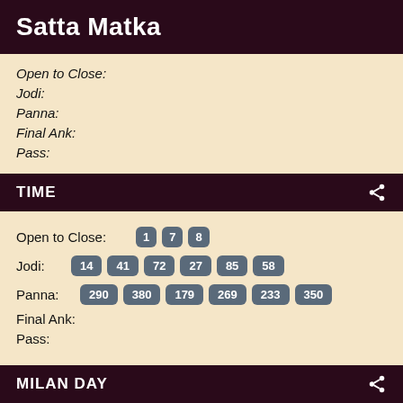Satta Matka
Open to Close:
Jodi:
Panna:
Final Ank:
Pass:
TIME
Open to Close: 1 7 8
Jodi: 14 41 72 27 85 58
Panna: 290 380 179 269 233 350
Final Ank:
Pass:
MILAN DAY